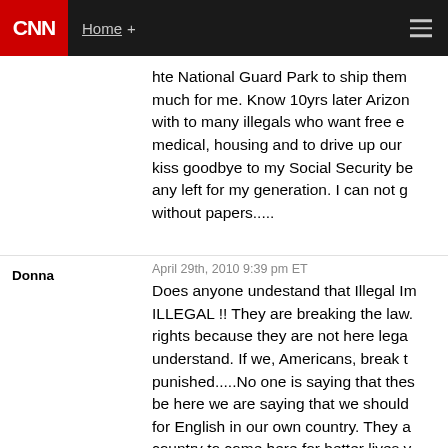CNN | Home +
hte National Guard Park to ship them much for me. Know 10yrs later Arizon with to many illegals who want free e medical, housing and to drive up our kiss goodbye to my Social Security be any left for my generation. I can not g without papers.....
Donna
April 29th, 2010 9:39 pm ET
Does anyone undestand that Illegal Im ILLEGAL !! They are breaking the law. rights because they are not here lega understand. If we, Americans, break t punished.....No one is saying that thes be here we are saying that we should for English in our own country. They a country to come here for better lives y filth our country the way theirs is. Why